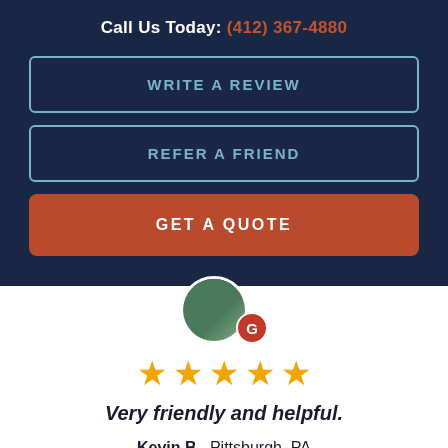Call Us Today: (412) 367-4880
WRITE A REVIEW
REFER A FRIEND
GET A QUOTE
[Figure (photo): Circular avatar photo of a person with a Google review badge overlay]
★★★★★ (5 stars)
Very friendly and helpful.
Kevin B., Pittsburgh, PA